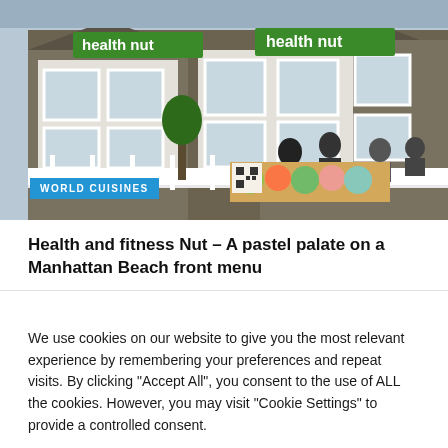[Figure (photo): Exterior photo of a Health Nut restaurant building with green and white signage, white fence railings, people seated outside at a table with a colorful food banner and QR code, on a bright day.]
WORLD CUISINES
Health and fitness Nut – A pastel palate on a Manhattan Beach front menu
We use cookies on our website to give you the most relevant experience by remembering your preferences and repeat visits. By clicking "Accept All", you consent to the use of ALL the cookies. However, you may visit "Cookie Settings" to provide a controlled consent.